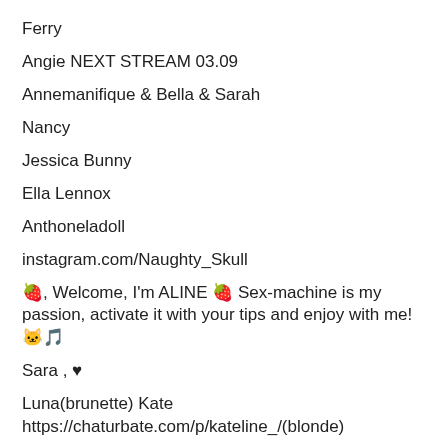Ferry
Angie NEXT STREAM 03.09
Annemanifique & Bella & Sarah
Nancy
Jessica Bunny
Ella Lennox
Anthoneladoll
instagram.com/Naughty_Skull
🍓, Welcome, I'm ALINE 🍓 Sex-machine is my passion, activate it with your tips and enjoy with me! 🐱🎵
Sara , ♥
Luna(brunette) Kate https://chaturbate.com/p/kateline_/(blonde)
❤️, Ariel❤️Moan from Lovense❤️Wet from Tip Menu